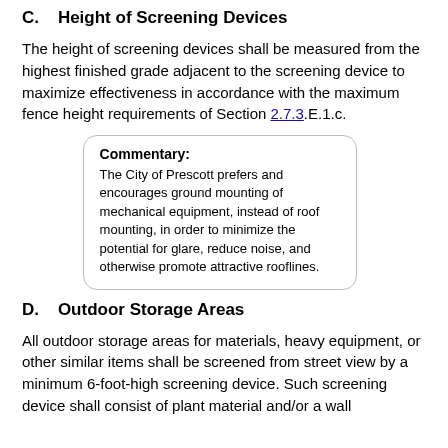C.    Height of Screening Devices
The height of screening devices shall be measured from the highest finished grade adjacent to the screening device to maximize effectiveness in accordance with the maximum fence height requirements of Section 2.7.3.E.1.c.
Commentary:
The City of Prescott prefers and encourages ground mounting of mechanical equipment, instead of roof mounting, in order to minimize the potential for glare, reduce noise, and otherwise promote attractive rooflines.
D.    Outdoor Storage Areas
All outdoor storage areas for materials, heavy equipment, or other similar items shall be screened from street view by a minimum 6-foot-high screening device. Such screening device shall consist of plant material and/or a wall